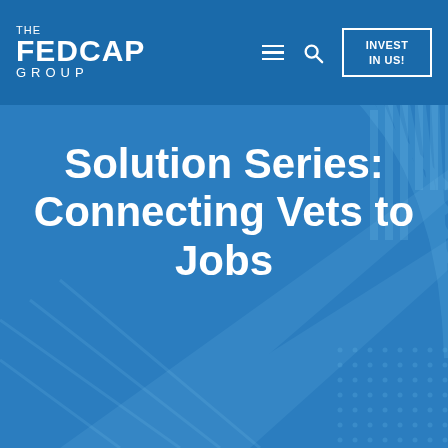[Figure (screenshot): The Fedcap Group website screenshot showing navigation bar with logo, hamburger menu, search icon, and 'Invest In Us!' button on a blue background]
THE FEDCAP GROUP
Solution Series: Connecting Vets to Jobs